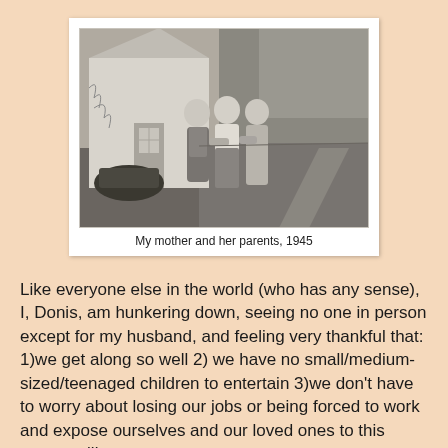[Figure (photo): Black and white photograph of three people (two women and a man) standing together outside a white wooden house with a flat rural landscape in the background, dated 1945.]
My mother and her parents, 1945
Like everyone else in the world (who has any sense), I, Donis, am hunkering down, seeing no one in person except for my husband, and feeling very thankful that: 1)we get along so well 2) we have no small/medium-sized/teenaged children to entertain 3)we don't have to worry about losing our jobs or being forced to work and expose ourselves and our loved ones to this rampant illness.